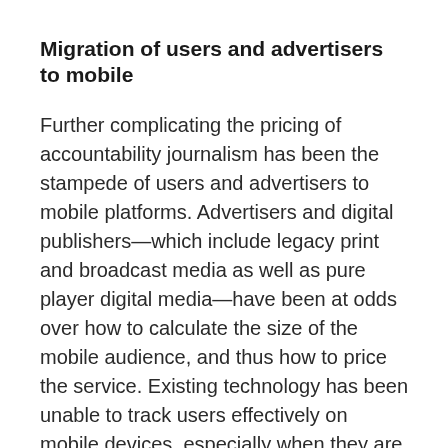Migration of users and advertisers to mobile
Further complicating the pricing of accountability journalism has been the stampede of users and advertisers to mobile platforms. Advertisers and digital publishers—which include legacy print and broadcast media as well as pure player digital media—have been at odds over how to calculate the size of the mobile audience, and thus how to price the service. Existing technology has been unable to track users effectively on mobile devices, especially when they are using applications (Breiner, 2015a, 2015c).
Nic Newman, writing in the Reuters Institute's